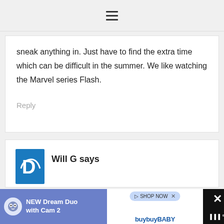≡ (hamburger menu)
sneak anything in. Just have to find the extra time which can be difficult in the summer. We like watching the Marvel series Flash.
Reply
Will G says
[Figure (infographic): Advertisement banner: NEW Dream Duo with Cam 2, SHOP NOW, buybuyBABY]
NEW Dream Duo with Cam 2 | SHOP NOW | buybuyBABY